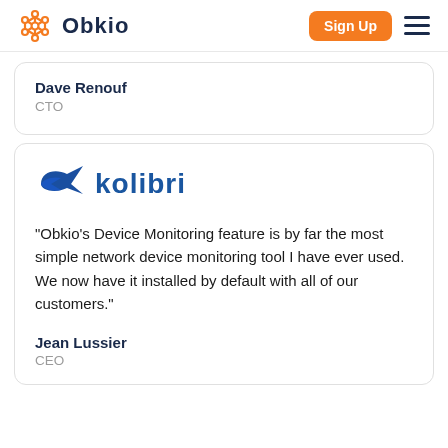Obkio | Sign Up
Dave Renouf
CTO
[Figure (logo): Kolibri logo with stylized blue hummingbird arrow icon and bold blue 'kolibri' wordmark]
“Obkio’s Device Monitoring feature is by far the most simple network device monitoring tool I have ever used. We now have it installed by default with all of our customers.”
Jean Lussier
CEO